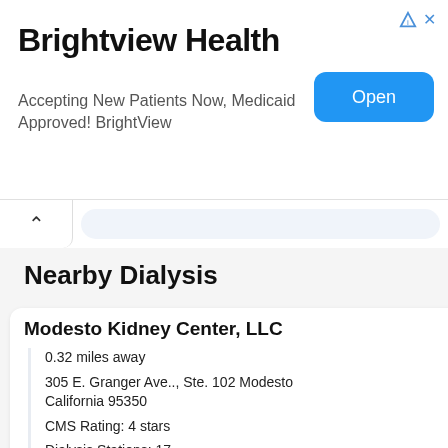[Figure (screenshot): Advertisement banner for Brightview Health with Open button]
Brightview Health
Accepting New Patients Now, Medicaid Approved! BrightView
Nearby Dialysis
Modesto Kidney Center, LLC
0.32 miles away
305 E. Granger Ave.., Ste. 102 Modesto California 95350
CMS Rating: 4 stars
Dialysis Stations: 17
(209) 574-6800